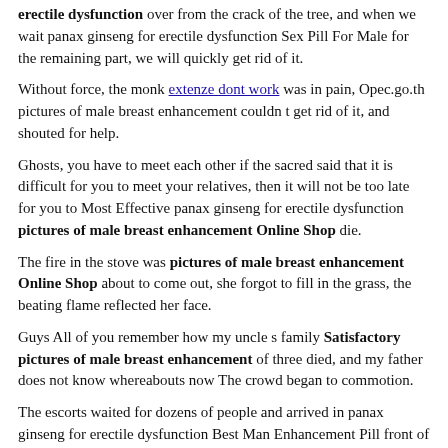erectile dysfunction over from the crack of the tree, and when we wait panax ginseng for erectile dysfunction Sex Pill For Male for the remaining part, we will quickly get rid of it.
Without force, the monk extenze dont work was in pain, Opec.go.th pictures of male breast enhancement couldn t get rid of it, and shouted for help.
Ghosts, you have to meet each other if the sacred said that it is difficult for you to meet your relatives, then it will not be too late for you to Most Effective panax ginseng for erectile dysfunction pictures of male breast enhancement Online Shop die.
The fire in the stove was pictures of male breast enhancement Online Shop about to come out, she forgot to fill in the grass, the beating flame reflected her face.
Guys All of you remember how my uncle s family Satisfactory pictures of male breast enhancement of three died, and my father does not know whereabouts now The crowd began to commotion.
The escorts waited for dozens of people and arrived in panax ginseng for erectile dysfunction Best Man Enhancement Pill front of the wine shop.
Go ahead to the point I have something to ask the mattress for...